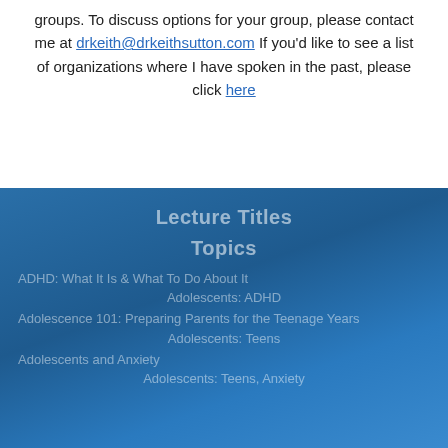groups. To discuss options for your group, please contact me at drkeith@drkeithsutton.com If you'd like to see a list of organizations where I have spoken in the past, please click here
Lecture Titles
Topics
ADHD: What It Is & What To Do About It
Adolescents: ADHD
Adolescence 101: Preparing Parents for the Teenage Years
Adolescents: Teens
Adolescents and Anxiety
Adolescents: Teens, Anxiety